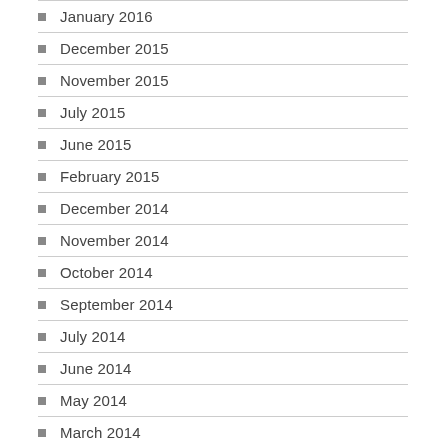January 2016
December 2015
November 2015
July 2015
June 2015
February 2015
December 2014
November 2014
October 2014
September 2014
July 2014
June 2014
May 2014
March 2014
February 2014